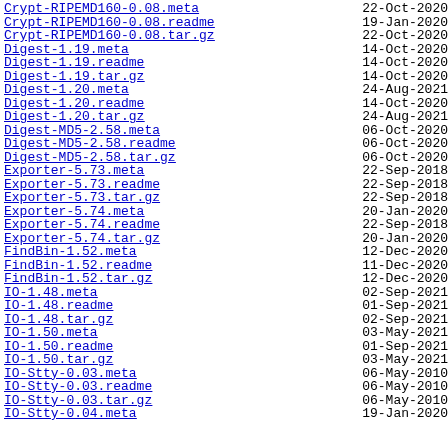Crypt-RIPEMD160-0.08.meta  22-Oct-2020
Crypt-RIPEMD160-0.08.readme  19-Jan-2020
Crypt-RIPEMD160-0.08.tar.gz  22-Oct-2020
Digest-1.19.meta  14-Oct-2020
Digest-1.19.readme  14-Oct-2020
Digest-1.19.tar.gz  14-Oct-2020
Digest-1.20.meta  24-Aug-2021
Digest-1.20.readme  14-Oct-2020
Digest-1.20.tar.gz  24-Aug-2021
Digest-MD5-2.58.meta  06-Oct-2020
Digest-MD5-2.58.readme  06-Oct-2020
Digest-MD5-2.58.tar.gz  06-Oct-2020
Exporter-5.73.meta  22-Sep-2018
Exporter-5.73.readme  22-Sep-2018
Exporter-5.73.tar.gz  22-Sep-2018
Exporter-5.74.meta  20-Jan-2020
Exporter-5.74.readme  22-Sep-2018
Exporter-5.74.tar.gz  20-Jan-2020
FindBin-1.52.meta  12-Dec-2020
FindBin-1.52.readme  11-Dec-2020
FindBin-1.52.tar.gz  12-Dec-2020
IO-1.48.meta  02-Sep-2021
IO-1.48.readme  01-Sep-2021
IO-1.48.tar.gz  02-Sep-2021
IO-1.50.meta  03-May-2021
IO-1.50.readme  01-Sep-2021
IO-1.50.tar.gz  03-May-2021
IO-Stty-0.03.meta  06-May-2010
IO-Stty-0.03.readme  06-May-2010
IO-Stty-0.03.tar.gz  06-May-2010
IO-Stty-0.04.meta  19-Jan-2020